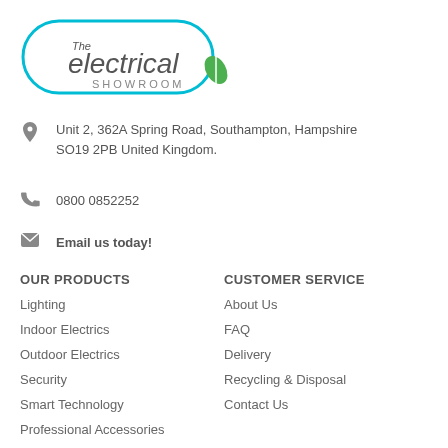[Figure (logo): The Electrical Showroom logo — teal rounded rectangle border with 'The electrical SHOWROOM' text and a green leaf accent]
Unit 2, 362A Spring Road, Southampton, Hampshire SO19 2PB United Kingdom.
0800 0852252
Email us today!
OUR PRODUCTS
Lighting
Indoor Electrics
Outdoor Electrics
Security
Smart Technology
Professional Accessories
CUSTOMER SERVICE
About Us
FAQ
Delivery
Recycling & Disposal
Contact Us